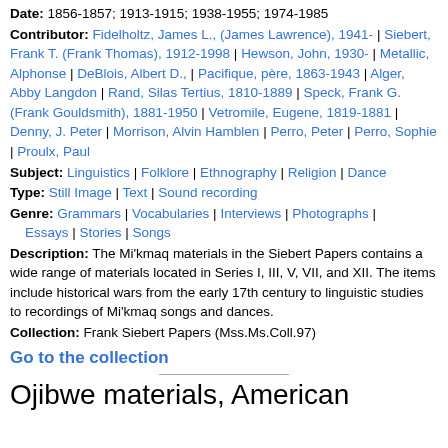Date: 1856-1857; 1913-1915; 1938-1955; 1974-1985
Contributor: Fidelholtz, James L., (James Lawrence), 1941- | Siebert, Frank T. (Frank Thomas), 1912-1998 | Hewson, John, 1930- | Metallic, Alphonse | DeBlois, Albert D., | Pacifique, père, 1863-1943 | Alger, Abby Langdon | Rand, Silas Tertius, 1810-1889 | Speck, Frank G. (Frank Gouldsmith), 1881-1950 | Vetromile, Eugene, 1819-1881 | Denny, J. Peter | Morrison, Alvin Hamblen | Perro, Peter | Perro, Sophie | Proulx, Paul
Subject: Linguistics | Folklore | Ethnography | Religion | Dance
Type: Still Image | Text | Sound recording
Genre: Grammars | Vocabularies | Interviews | Photographs | Essays | Stories | Songs
Description: The Mi'kmaq materials in the Siebert Papers contains a wide range of materials located in Series I, III, V, VII, and XII. The items include historical wars from the early 17th century to linguistic studies to recordings of Mi'kmaq songs and dances.
Collection: Frank Siebert Papers (Mss.Ms.Coll.97)
Go to the collection
Ojibwe materials, American